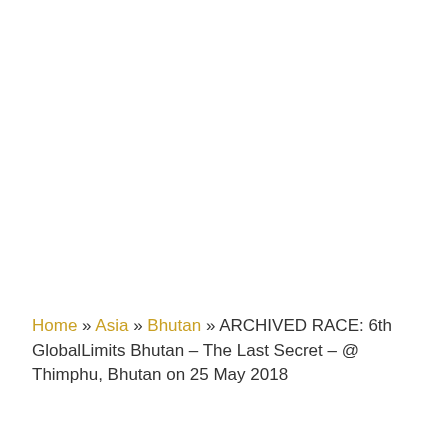Home » Asia » Bhutan » ARCHIVED RACE: 6th GlobalLimits Bhutan – The Last Secret – @ Thimphu, Bhutan on 25 May 2018